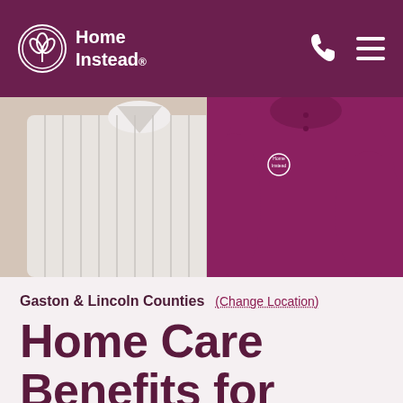Home Instead
[Figure (photo): Two people from the torso down — an older man in a white/grey striped polo shirt on the left and a caregiver in a purple Home Instead polo shirt on the right, standing close together indoors.]
Gaston & Lincoln Counties (Change Location)
Home Care Benefits for Seniors